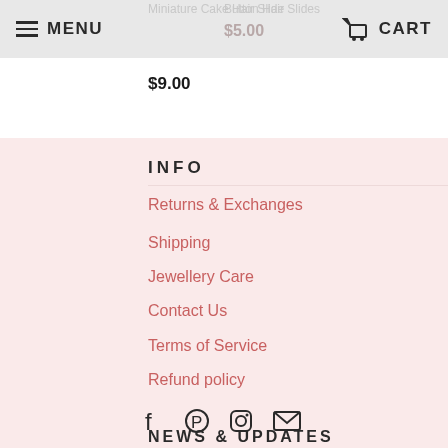MENU | CART
Miniature Cake Hair Slide
Button Hair Slides
$5.00
$9.00
INFO
Returns & Exchanges
Shipping
Jewellery Care
Contact Us
Terms of Service
Refund policy
[Figure (illustration): Social media icons: Facebook, Pinterest, Instagram, Email]
NEWS & UPDATES